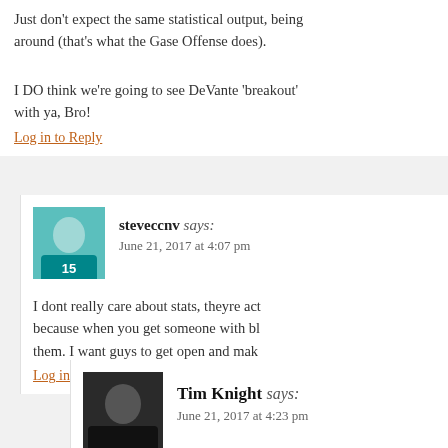Just don't expect the same statistical output, being around (that's what the Gase Offense does).
I DO think we're going to see DeVante 'breakout' with ya, Bro!
Log in to Reply
steveccnv says: June 21, 2017 at 4:07 pm
I dont really care about stats, theyre act because when you get someone with bl them. I want guys to get open and mak
Log in to Reply
Tim Knight says: June 21, 2017 at 4:23 pm
Agreed, I want to see us spre